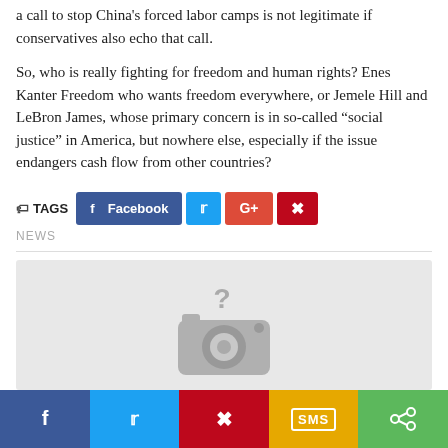a call to stop China's forced labor camps is not legitimate if conservatives also echo that call.
So, who is really fighting for freedom and human rights? Enes Kanter Freedom who wants freedom everywhere, or Jemele Hill and LeBron James, whose primary concern is in so-called “social justice” in America, but nowhere else, especially if the issue endangers cash flow from other countries?
[Figure (infographic): Social sharing buttons: TAGS label with tag icon, NEWS tag below, Facebook (blue), Twitter (cyan), G+ (red-orange), Pinterest (dark red) buttons]
[Figure (photo): Placeholder image with camera icon and question mark on grey background]
[Figure (infographic): Bottom social sharing bar: Facebook (dark blue), Twitter (light blue), Pinterest (dark red), SMS (yellow/amber), Share (green) buttons]